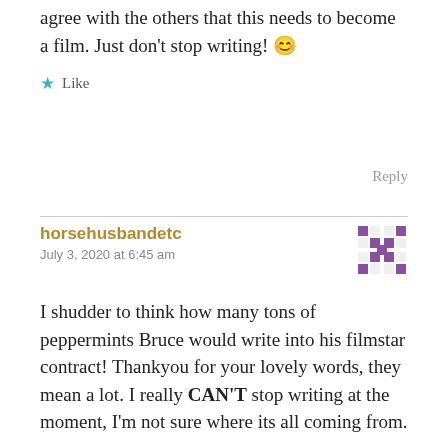agree with the others that this needs to become a film. Just don't stop writing! 😊
★ Like
Reply
horsehusbandetc
July 3, 2020 at 6:45 am
I shudder to think how many tons of peppermints Bruce would write into his filmstar contract! Thankyou for your lovely words, they mean a lot. I really CAN'T stop writing at the moment, I'm not sure where its all coming from.
★ Like